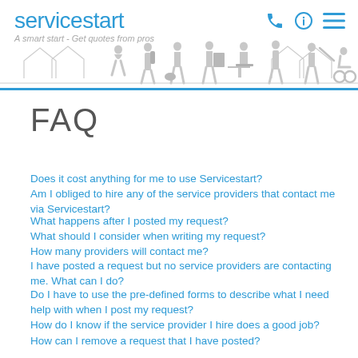servicestart — A smart start - Get quotes from pros
[Figure (illustration): Grey silhouettes of various service workers and tradespeople against a skyline of house outlines]
FAQ
Does it cost anything for me to use Servicestart?
Am I obliged to hire any of the service providers that contact me via Servicestart?
What happens after I posted my request?
What should I consider when writing my request?
How many providers will contact me?
I have posted a request but no service providers are contacting me. What can I do?
Do I have to use the pre-defined forms to describe what I need help with when I post my request?
How do I know if the service provider I hire does a good job?
How can I remove a request that I have posted?